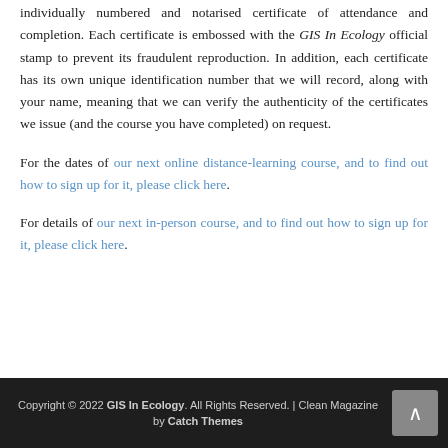individually numbered and notarised certificate of attendance and completion. Each certificate is embossed with the GIS In Ecology official stamp to prevent its fraudulent reproduction. In addition, each certificate has its own unique identification number that we will record, along with your name, meaning that we can verify the authenticity of the certificates we issue (and the course you have completed) on request.
For the dates of our next online distance-learning course, and to find out how to sign up for it, please click here.
For details of our next in-person course, and to find out how to sign up for it, please click here.
Copyright © 2022 GIS In Ecology. All Rights Reserved. | Clean Magazine by Catch Themes